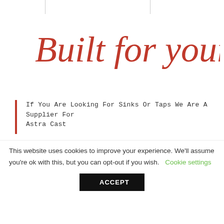Built for your life
If You Are Looking For Sinks Or Taps We Are A Supplier For Astra Cast
[Figure (logo): Astracast logo: green faucet/tap with water drop above a circle containing a leaf, with 'ASTRACAST' in bold dark teal lettering inside a rectangular border]
This website uses cookies to improve your experience. We'll assume you're ok with this, but you can opt-out if you wish. Cookie settings ACCEPT